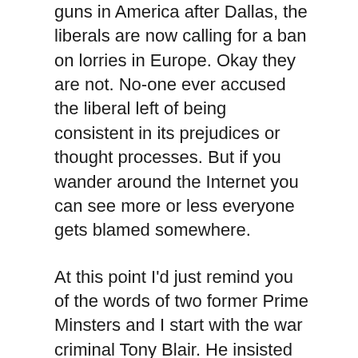guns in America after Dallas, the liberals are now calling for a ban on lorries in Europe. Okay they are not. No-one ever accused the liberal left of being consistent in its prejudices or thought processes. But if you wander around the Internet you can see more or less everyone gets blamed somewhere.
At this point I'd just remind you of the words of two former Prime Minsters and I start with the war criminal Tony Blair. He insisted that we had to invade Iraq to make Britain a safer place. He persuaded other countries to join in this folly. In ousting Saddam Hussein we helped create a vacuum of power which was the breeding ground for ISIS. In meddling where we had no right to meddle in Muslim country after Muslim country, we gave credence to the words of those trying to persuade young Muslims in the West that the